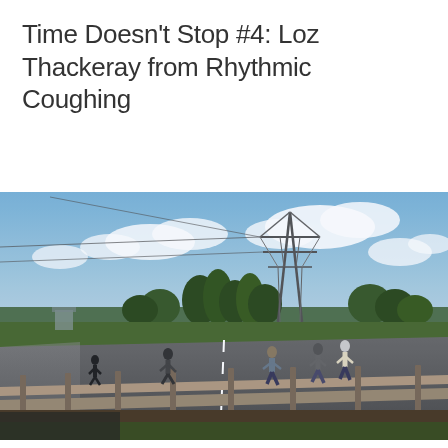Time Doesn't Stop #4: Loz Thackeray from Rhythmic Coughing
[Figure (photo): Outdoor photograph of several people standing on a highway or motorway road, with a metal electricity pylon/transmission tower in the background, evergreen trees, an overcast-blue sky with clouds, and a crash barrier/guardrail in the foreground. The scene appears to be taken from a roadside vantage point.]